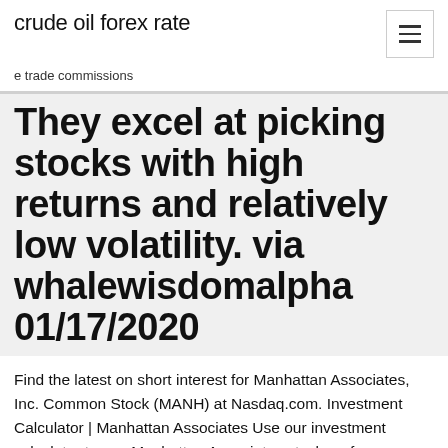crude oil forex rate
e trade commissions
They excel at picking stocks with high returns and relatively low volatility. via whalewisdomalpha 01/17/2020
Find the latest on short interest for Manhattan Associates, Inc. Common Stock (MANH) at Nasdaq.com. Investment Calculator | Manhattan Associates Use our investment calculator to see Manhattan Associates stock performance over a specified period of time. Historical Price Lookup | Manhattan Assoc NOTE: The Closing Price, Day's High, Day's Low, and Day's Volume have been adjusted to account for any stock splits